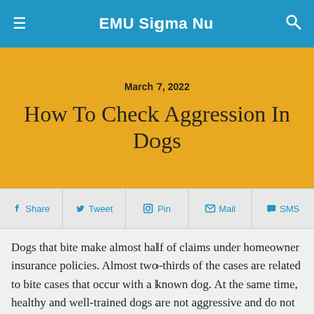EMU Sigma Nu
March 7, 2022
How To Check Aggression In Dogs
Share   Tweet   Pin   Mail   SMS
Dogs that bite make almost half of claims under homeowner insurance policies. Almost two-thirds of the cases are related to bite cases that occur with a known dog. At the same time, healthy and well-trained dogs are not aggressive and do not normally bite. There is evidence of a genetic disposition of the dog in certain breeds aggression, irst to reply. For even